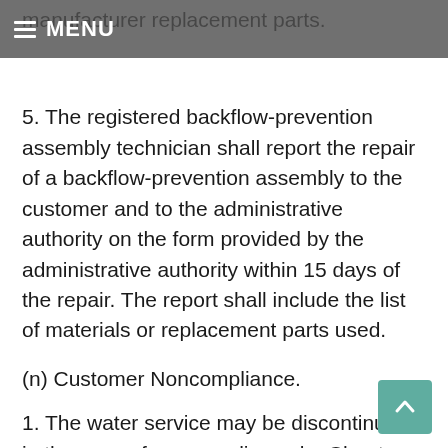≡ MENU
manufacturer replacement parts.
5. The registered backflow-prevention assembly technician shall report the repair of a backflow-prevention assembly to the customer and to the administrative authority on the form provided by the administrative authority within 15 days of the repair. The report shall include the list of materials or replacement parts used.
(n) Customer Noncompliance.
1. The water service may be discontinued in the case of noncompliance by Chapter ???? of the Decorah City Municipal Code, Section ??????. Noncompliance includes, but is not limited to, the following:
A. Refusal to allow the administrative authority access to the property to inspect for cross-